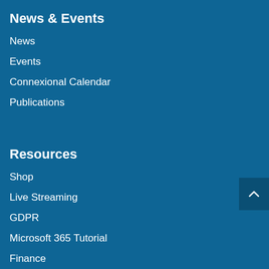News & Events
News
Events
Connexional Calendar
Publications
Resources
Shop
Live Streaming
GDPR
Microsoft 365 Tutorial
Finance
Property
Employment